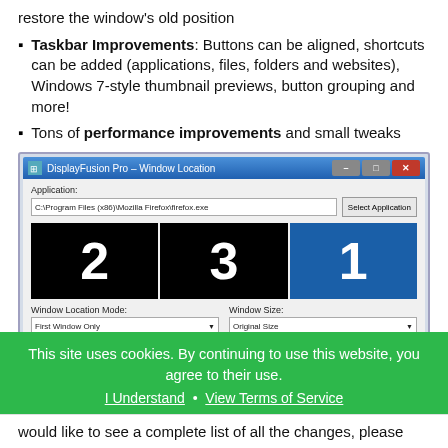restore the window's old position
Taskbar Improvements: Buttons can be aligned, shortcuts can be added (applications, files, folders and websites), Windows 7-style thumbnail previews, button grouping and more!
Tons of performance improvements and small tweaks
[Figure (screenshot): DisplayFusion Pro Window Location dialog showing three monitors numbered 2, 3, 1 with Window Location Mode set to First Window Only and Window Size set to Original Size]
This site uses cookies. By continuing to use this website, you agree to their use. I Understand · View Terms of Service
would like to see a complete list of all the changes, please